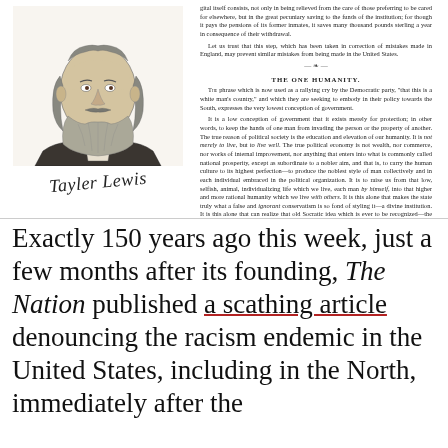[Figure (illustration): Black and white engraved portrait of an older bearded man with long wavy hair, shown from shoulders up, facing slightly left. Below the portrait is a cursive signature reading 'Tayler Lewis'.]
gital itself consists, not only in being relieved from the care of those preferring to be cared for elsewhere, but in the great pecuniary saving to the funds of the institution; for though it pays the pensions of its former inmates, it saves many thousand pounds sterling a year in consequence of their withdrawal. Let us trust that this step, which has been taken in correction of mistakes made in England, may prevent similar mistakes from being made in the United States.
THE ONE HUMANITY.
The phrase which is now used as a rallying cry by the Democratic party, "that this is a white man's country," and which they are seeking to embody in their policy towards the South, expresses the very lowest conception of government. It is a low conception of government that it exists merely for protection; in other words, to keep the hands of one man from invading the person or the property of another. The true reason of political society is the education and elevation of our humanity. It is not merely to live, but to live well. The true political economy is not wealth, nor commerce, nor works of internal improvement, nor anything that enters into what is commonly called national prosperity, except as subordinate to a nobler aim, and that is, to carry the human culture to its highest perfection—to produce the noblest style of man collectively and in each individual embraced in the political organization. It is to raise us from that low, selfish, animal, individualizing life which we live, each man by himself, into that higher and more rational humanity which we live with others. It is this alone that makes the state truly what a false and ignorant conservatism is so fond of styling it—a divine institution. It is this alone that can realize that old Socratic idea which is ever to be recognized—the ele...
Exactly 150 years ago this week, just a few months after its founding, The Nation published a scathing article denouncing the racism endemic in the United States, including in the North, immediately after the